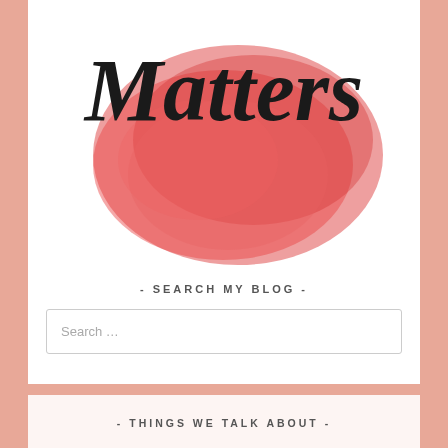[Figure (logo): Blog logo showing the word 'Matters' in large black brush script over a red watercolor splash on white background]
- SEARCH MY BLOG -
Search …
- THINGS WE TALK ABOUT -
Baby Birthday brothers Deacon DIY Faith Family first